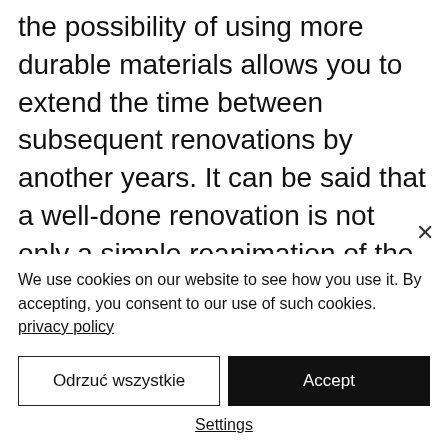the possibility of using more durable materials allows you to extend the time between subsequent renovations by another years. It can be said that a well-done renovation is not only a simple reanimation of the kitchen, but also making it almost completely new. Custom-made furniture was created for these purposes. This is a huge advantage,
We use cookies on our website to see how you use it. By accepting, you consent to our use of such cookies. privacy policy
Odrzuć wszystkie
Accept
Settings